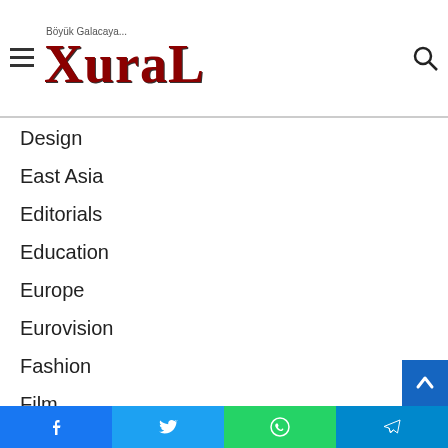XuraL — Böyük Galacaya...
Design
East Asia
Editorials
Education
Europe
Eurovision
Fashion
Film
Food and Drink
Football
Golf
Facebook · Twitter · WhatsApp · Telegram